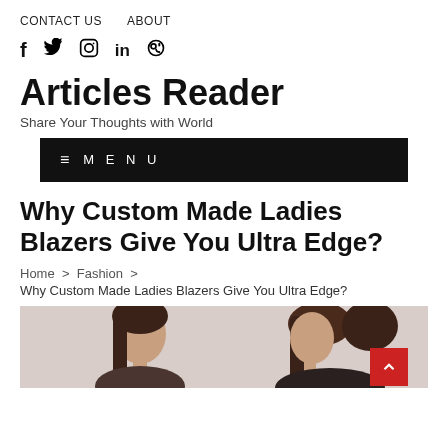CONTACT US   ABOUT
f  🐦  📷  in  𝗣
Articles Reader
Share Your Thoughts with World
≡  MENU
Why Custom Made Ladies Blazers Give You Ultra Edge?
Home > Fashion > Why Custom Made Ladies Blazers Give You Ultra Edge?
[Figure (photo): Two women with long brown hair, partial head/shoulder view, on a light background]